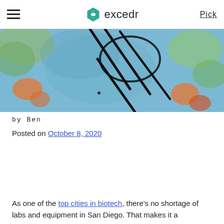excedr  Pick
[Figure (illustration): Colorful illustrated image with blue background, featuring abstract hand-drawn black line art shapes overlaid on a watercolor-style background with orange, green, blue paint textures.]
by Ben
Posted on October 8, 2020
As one of the top cities in biotech, there's no shortage of labs and equipment in San Diego. That makes it a